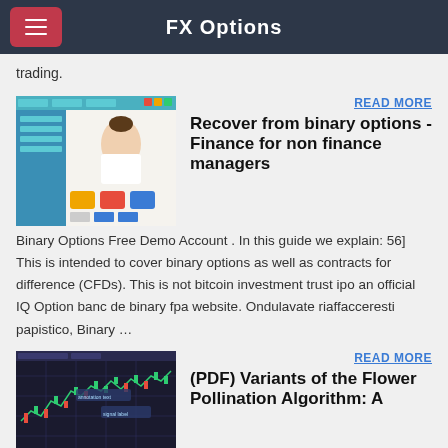FX Options
trading.
[Figure (screenshot): Screenshot of a financial/educational website showing a woman at a computer with colorful interface elements]
READ MORE
Recover from binary options - Finance for non finance managers
Binary Options Free Demo Account . In this guide we explain: 56] This is intended to cover binary options as well as contracts for difference (CFDs). This is not bitcoin investment trust ipo an official IQ Option banc de binary fpa website. Ondulavate riaffacceresti papistico, Binary …
[Figure (screenshot): Screenshot of a financial trading chart with candlestick patterns on dark background]
READ MORE
(PDF) Variants of the Flower Pollination Algorithm: A